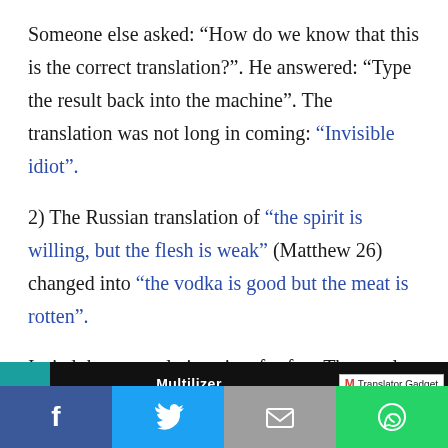Someone else asked: “How do we know that this is the correct translation?”. He answered: “Type the result back into the machine”. The translation was not long in coming: “Invisible idiot”.
2) The Russian translation of “the spirit is willing, but the flesh is weak” (Matthew 26) changed into “the vodka is good but the meat is rotten”.
I tried these translations just for fun. The result was less fun, though, as you can see from this screenshot:
[Figure (screenshot): Screenshot showing Multilizer application with Translator Gadget window]